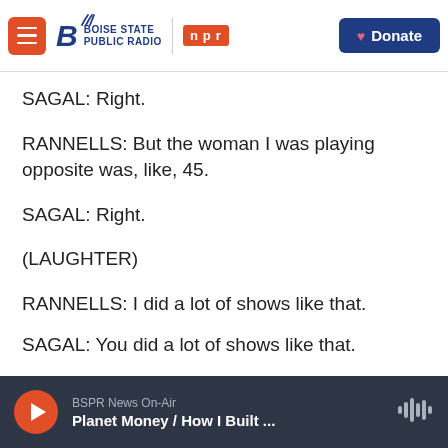Boise State Public Radio | NPR | Donate
SAGAL: Right.
RANNELLS: But the woman I was playing opposite was, like, 45.
SAGAL: Right.
(LAUGHTER)
RANNELLS: I did a lot of shows like that.
SAGAL: You did a lot of shows like that.
RANNELLS: Yeah.
BSPR News On-Air
Planet Money / How I Built ...